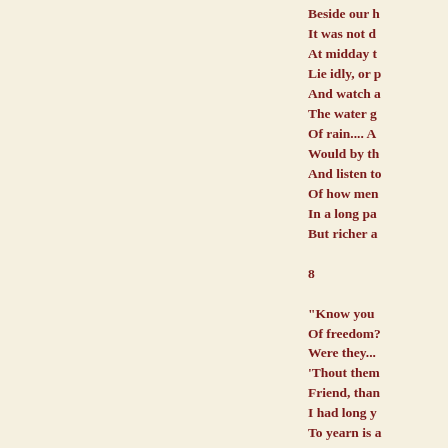Beside our h
It was not d
At midday t
Lie idly, or p
And watch a
The water g
Of rain.... A
Would by th
And listen to
Of how men
In a long pa
But richer a

8

"Know you
Of freedom?
Were they...
'Thout them
Friend, than
I had long y
To yearn is a
Of distant fi
Beauty I wa
If born for d